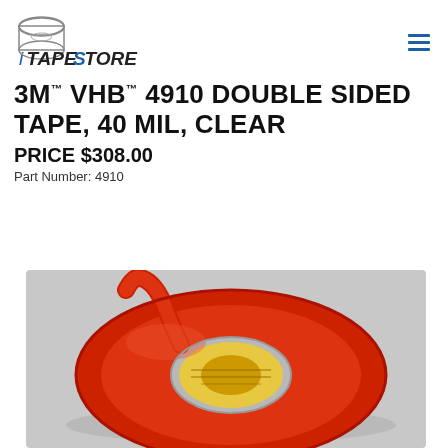iTapeStore
3M™ VHB™ 4910 DOUBLE SIDED TAPE, 40 MIL, CLEAR
PRICE $308.00
Part Number: 4910
[Figure (photo): A roll of 3M VHB 4910 double sided clear tape with red liner, shown coiled on a flat surface with the end of the tape pulled up. The roll has a yellow core label.]